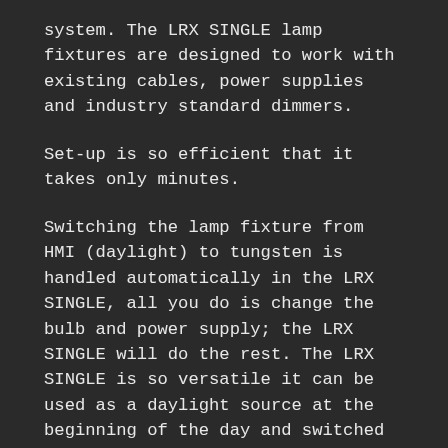system. The LRX SINGLE lamp fixtures are designed to work with existing cables, power supplies and industry standard dimmers.
Set-up is so efficient that it takes only minutes.
Switching the lamp fixture from HMI (daylight) to tungsten is handled automatically in the LRX SINGLE, all you do is change the bulb and power supply; the LRX SINGLE will do the rest. The LRX SINGLE is so versatile it can be used as a daylight source at the beginning of the day and switched to an incandescent source part way through the workday in a matter of minutes.
The LRX SINGLE lighting system comes complete with a robotic lighting head, integrated gel frame holders, DMX hardwire remote control, DMX cable and a shipping case. There is an optional